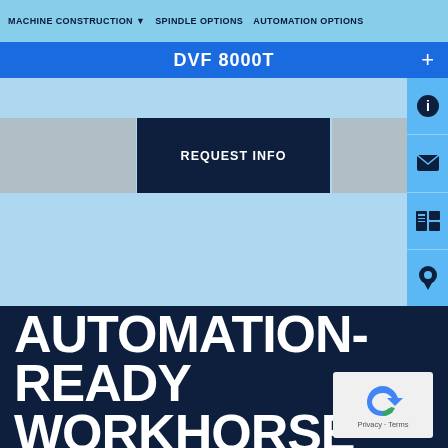MACHINE CONSTRUCTION ▾   SPINDLE OPTIONS   AUTOMATION OPTIONS
DVF 8000T
[Figure (screenshot): Website screenshot showing DVF 8000T machine page with light blue background, gray image placeholders on left and right, a dark navy REQUEST INFO button in center, and a right sidebar with info, email, brochure, and location icons]
REQUEST INFO
AUTOMATION-READY WORKHORSE